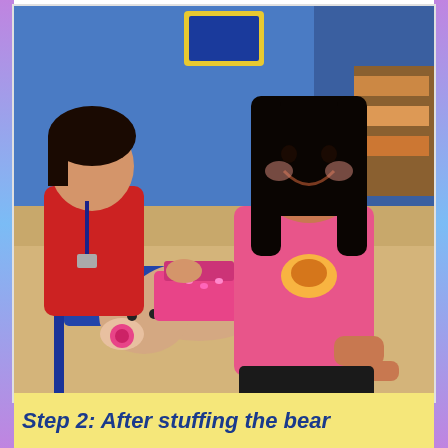[Figure (photo): A smiling girl in a pink t-shirt and a female store employee in a red shirt are at a Build-A-Bear Workshop style store. The girl is holding a stuffed animal (a bear/hippo) that is being stuffed on a blue surface. Store shelves and colorful merchandise are visible in the background.]
Step 2: After stuffing the bear